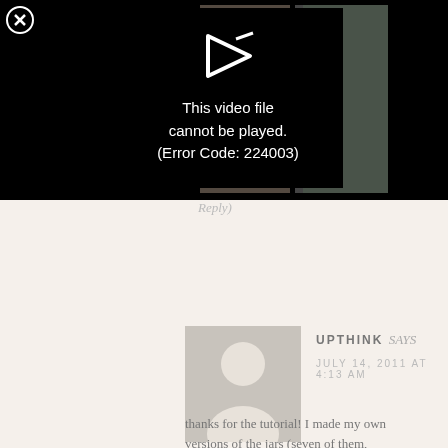[Figure (screenshot): Video player error overlay showing 'This video file cannot be played. (Error Code: 224003)' with a play icon and a close (X) button in the top left. Behind the error box are partially visible images of watercolor paints and art supplies.]
Reply)
[Figure (photo): Default gray avatar/profile picture placeholder showing a silhouette of a person.]
UPTHINK says
JULY 14, 2011 AT 4:13 AM
thanks for the tutorial! I made my own versions of the jars (seven of them,